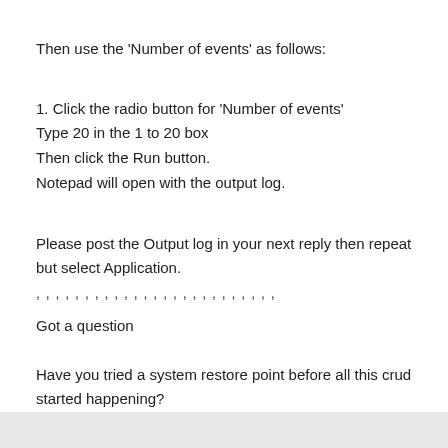Then use the 'Number of events' as follows:
1. Click the radio button for 'Number of events'
Type 20 in the 1 to 20 box
Then click the Run button.
Notepad will open with the output log.
Please post the Output log in your next reply then repeat but select Application.
, , , , , , , , , , , , , , , , , , , , , , , , , , ,
Got a question
Have you tried a system restore point before all this crud started happening?
Or Last Known good configuration?